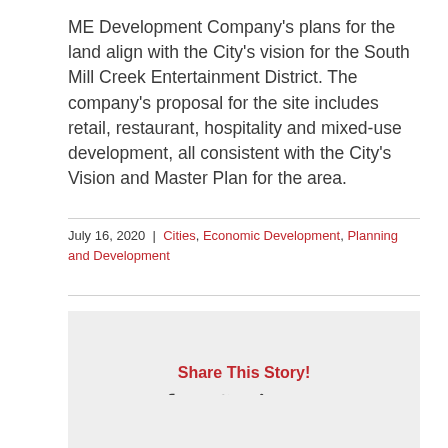ME Development Company's plans for the land align with the City's vision for the South Mill Creek Entertainment District. The company's proposal for the site includes retail, restaurant, hospitality and mixed-use development, all consistent with the City's Vision and Master Plan for the area.
July 16, 2020  |  Cities, Economic Development, Planning and Development
Share This Story!
Recent News